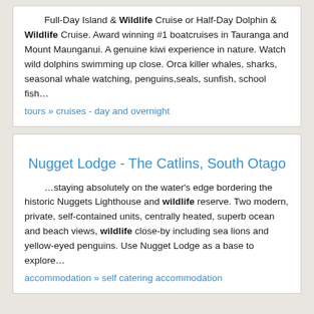Full-Day Island & Wildlife Cruise or Half-Day Dolphin & Wildlife Cruise. Award winning #1 boatcruises in Tauranga and Mount Maunganui. A genuine kiwi experience in nature. Watch wild dolphins swimming up close. Orca killer whales, sharks, seasonal whale watching, penguins,seals, sunfish, school fish…
tours » cruises - day and overnight
Nugget Lodge - The Catlins, South Otago
…staying absolutely on the water's edge bordering the historic Nuggets Lighthouse and wildlife reserve. Two modern, private, self-contained units, centrally heated, superb ocean and beach views, wildlife close-by including sea lions and yellow-eyed penguins. Use Nugget Lodge as a base to explore…
accommodation » self catering accommodation